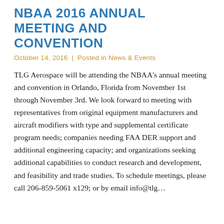NBAA 2016 ANNUAL MEETING AND CONVENTION
October 14, 2016 | Posted in News & Events
TLG Aerospace will be attending the NBAA's annual meeting and convention in Orlando, Florida from November 1st through November 3rd. We look forward to meeting with representatives from original equipment manufacturers and aircraft modifiers with type and supplemental certificate program needs; companies needing FAA DER support and additional engineering capacity; and organizations seeking additional capabilities to conduct research and development, and feasibility and trade studies. To schedule meetings, please call 206-859-5061 x129; or by email info@tlg...